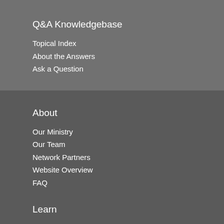Q&A Knowledgebase
Topical Index
About the Answers
Ask a Question
About
Our Ministry
Our Team
Network Partners
Website Overview
FAQ
Learn
Video Seminary Curriculum
About the Video Curriculum